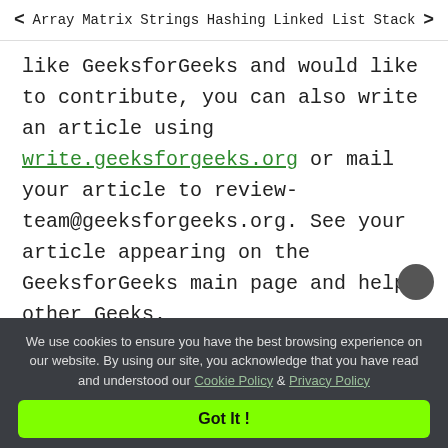< Array   Matrix   Strings   Hashing   Linked List   Stack >
like GeeksforGeeks and would like to contribute, you can also write an article using write.geeksforgeeks.org or mail your article to review-team@geeksforgeeks.org. See your article appearing on the GeeksforGeeks main page and help other Geeks.
Recommended
Solve DSA Problems On GFG Practice.
We use cookies to ensure you have the best browsing experience on our website. By using our site, you acknowledge that you have read and understood our Cookie Policy & Privacy Policy
Got It !